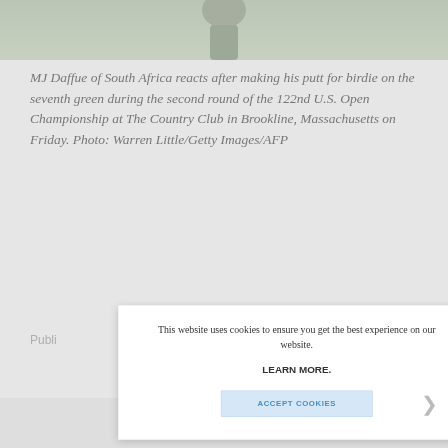[Figure (photo): Partial photo of MJ Daffue at a golf course, cropped at top of page showing lower body of golfer in green attire]
MJ Daffue of South Africa reacts after making his putt for birdie on the seventh green during the second round of the 122nd U.S. Open Championship at The Country Club in Brookline, Massachusetts on Friday. Photo: Warren Little/Getty Images/AFP
Publi...
This website uses cookies to ensure you get the best experience on our website.

LEARN MORE.

ACCEPT COOKIES